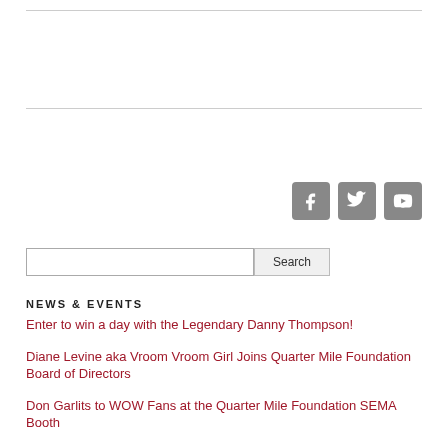[Figure (other): Three social media icons: Facebook (f), Twitter (bird), YouTube (play button), all square with rounded corners on a gray background]
[Figure (other): Search input field with a Search button]
NEWS & EVENTS
Enter to win a day with the Legendary Danny Thompson!
Diane Levine aka Vroom Vroom Girl Joins Quarter Mile Foundation Board of Directors
Don Garlits to WOW Fans at the Quarter Mile Foundation SEMA Booth